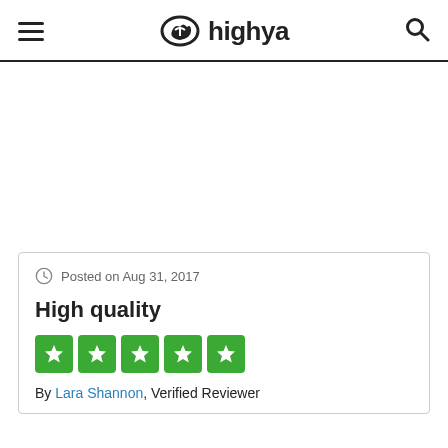highya
Posted on Aug 31, 2017
High quality
[Figure (other): 5 green star rating boxes with white stars]
By Lara Shannon, Verified Reviewer